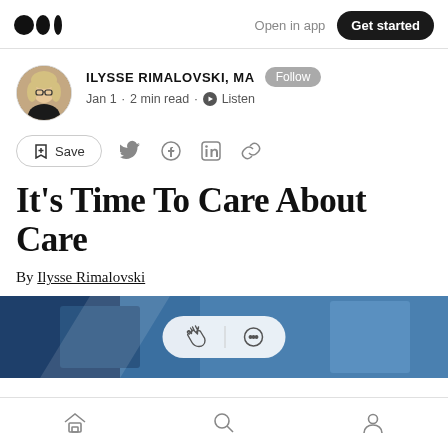Medium logo | Open in app | Get started
ILYSSE RIMALOVSKI, MA · Follow · Jan 1 · 2 min read · Listen
Save (social share icons)
It's Time To Care About Care
By Ilysse Rimalovski
[Figure (photo): Article header photo showing a close-up of what appears to be medical/care-related equipment in blue tones, with clap and comment overlay buttons]
Bottom navigation bar with home, search, and profile icons